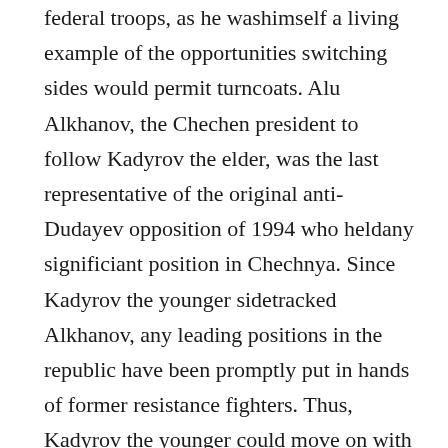federal troops, as he washimself a living example of the opportunities switching sides would permit turncoats. Alu Alkhanov, the Chechen president to follow Kadyrov the elder, was the last representative of the original anti-Dudayev opposition of 1994 who heldany significiant position in Chechnya. Since Kadyrov the younger sidetracked Alkhanov, any leading positions in the republic have been promptly put in hands of former resistance fighters. Thus, Kadyrov the younger could move on with his goal to gain total hegemony in the republic, and start eliminating the influence of all federal forces inside the Republic. The bold and unpunished execution of the former commander of the «Mountaineer» detachment, Movdavi Baysarov, in the center of Moscow in 2006, and the expulsion of Sulim Yamadaev from the post of commander of the special battallion of the Ministry of Defence «Vostok»